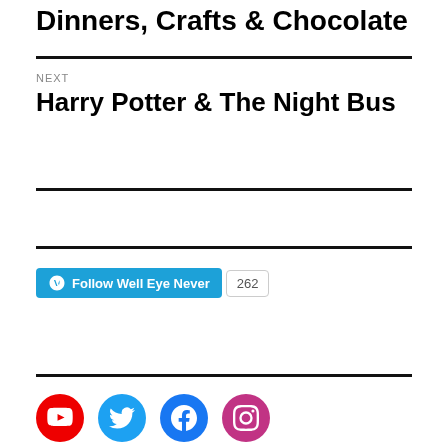Dinners, Crafts & Chocolate
NEXT
Harry Potter & The Night Bus
[Figure (other): Follow Well Eye Never WordPress follow button with count 262]
[Figure (other): Social media icons: YouTube, Twitter, Facebook, Instagram]